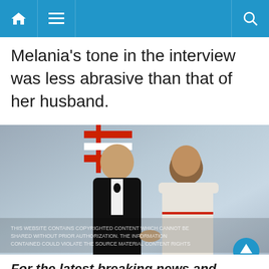Navigation bar with home, menu, and search icons
Melania’s tone in the interview was less abrasive than that of her husband.
[Figure (photo): Photo of a man in a black tuxedo and a woman in an off-shoulder white dress holding hands, standing in front of an American flag backdrop]
For the latest breaking news and stories